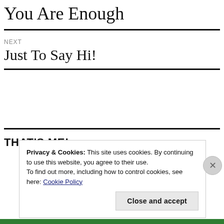You Are Enough
NEXT
Just To Say Hi!
THAT'S ME!
Privacy & Cookies: This site uses cookies. By continuing to use this website, you agree to their use.
To find out more, including how to control cookies, see here: Cookie Policy
Close and accept